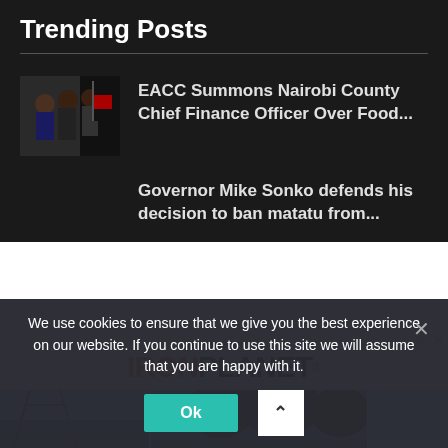Trending Posts
EACC Summons Nairobi County Chief Finance Officer Over Food...
Governor Mike Sonko defends his decision to ban matatu from...
[Figure (other): Ritchie Bros. IronPlanet advertisement banner with logo and image strip of outdoor scenes]
We use cookies to ensure that we give you the best experience on our website. If you continue to use this site we will assume that you are happy with it.